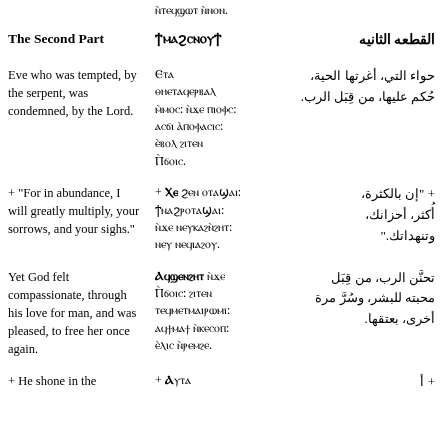ⲛⲧⲉϥϣⲱⲧ ⲛ̀ⲛⲟⲛ.
The Second Part | ϯⲙⲁϩⲥⲛⲟⲩϯ | القطعه الثانيه
Eve who was tempted, by the serpent, was condemned, by the Lord.
Ⲉⲧⲁ ⲑⲏⲉⲧⲁϥⲉⲣⲃⲁⲗ ⲙ̀ⲙⲟⲥ: ⲛ̀ϫⲉ ⲡⲓⲟⲫⲥ: ⲁⲥϭⲓ ⲁ̀ⲡⲟⲫⲁⲥⲓⲥ: ⲉ̀ⲃⲟⲗ ϩⲓⲧⲉⲛ Ⲡ̀ϭⲟⲓⲥ.
حواء التي، أغرتها الحية، حُكم عليها، من قِبَل الرب.
+ "For in abundance, I will greatly multiply, your sorrows, and your sighs."
+ Ⲭⲉ ϩⲉⲛ ⲟⲧⲁϣⲁⲓ: ϯⲛⲁϩⲣⲟⲧⲁϣⲁⲓ: ⲛ̀ϫⲉ ⲛⲉⲩⲕⲁϩⲛ̀ϩⲏⲧ: ⲛⲉⲩ ⲛⲉϥⲓⲁϩⲟⲩ.
+ " إن بالكثرة، أُكثر، أحزانك، وتنهداتك."
Yet God felt compassionate, through his love for man, and was pleased, to free her once again.
Ⲁϥϣⲉⲛϩⲏⲧ ⲛ̀ϫⲉ Ⲡ̀ϭⲟⲓⲥ: ϩⲓⲧⲉⲛ ⲧⲉϥⲙⲉⲧⲙⲁⲓⲣⲱⲙⲓ: ⲁϥϯⲙⲁϯ ⲛ̀ⲕⲉⲥⲟⲡ: ⲉ̀ⲗⲓⲥ ⲛ̀ⲣⲉⲙϩⲉ.
تحنَّن الرب، من قِبَل محبته للبشر، وسُرَّ مرة أخرى، بعتقها.
+ He shone in the
+ Ⲁⲩⲧⲁ...
+ أ...